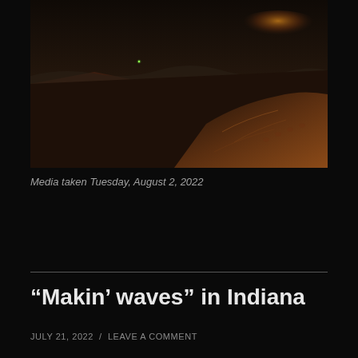[Figure (photo): Beach scene at dusk showing wet sand, waves washing ashore, and a sand dune in the lower right lit with warm golden-orange light. Small green lens flare visible in the center. Dark, moody atmosphere.]
Media taken Tuesday, August 2, 2022
“Makin’ waves” in Indiana
JULY 21, 2022 / LEAVE A COMMENT